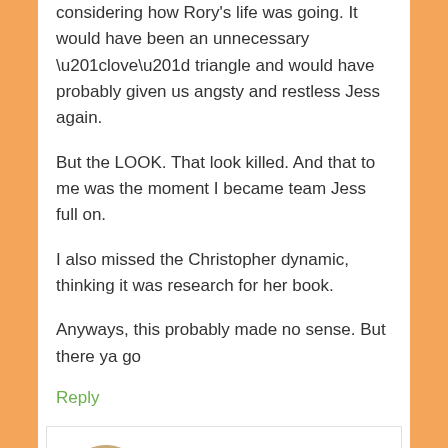considering how Rory's life was going. It would have been an unnecessary “love” triangle and would have probably given us angsty and restless Jess again.
But the LOOK. That look killed. And that to me was the moment I became team Jess full on.
I also missed the Christopher dynamic, thinking it was research for her book.
Anyways, this probably made no sense. But there ya go
Reply
Amy @The Salt Stories says
November 29, 2016 at 11:35 pm